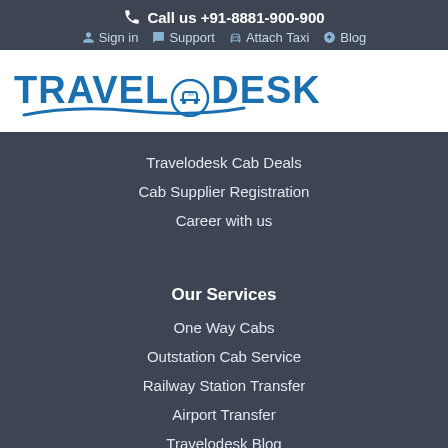Call us +91-8881-900-900
Sign in  Support  Attach Taxi  Blog
[Figure (logo): TravelODesk logo with car icon and blue swoosh]
Travelodesk Cab Deals
Cab Supplier Registration
Career with us
Our Services
One Way Cabs
Outstation Cab Service
Railway Station Transfer
Airport Transfer
Travelodesk Blog